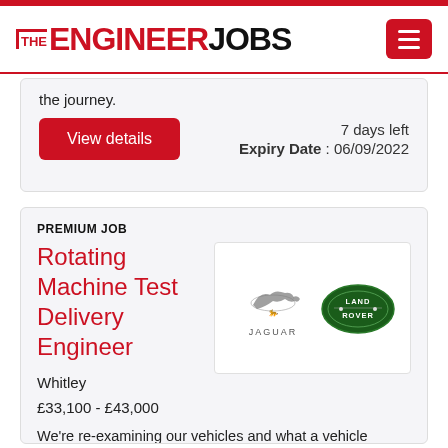THE ENGINEER JOBS
the journey.
View details
7 days left
Expiry Date : 06/09/2022
PREMIUM JOB
Rotating Machine Test Delivery Engineer
[Figure (logo): Jaguar and Land Rover company logos side by side]
Whitley
£33,100 - £43,000
We're re-examining our vehicles and what a vehicle means in the emerging world of automation, connectedness, electrification and the shared economy.